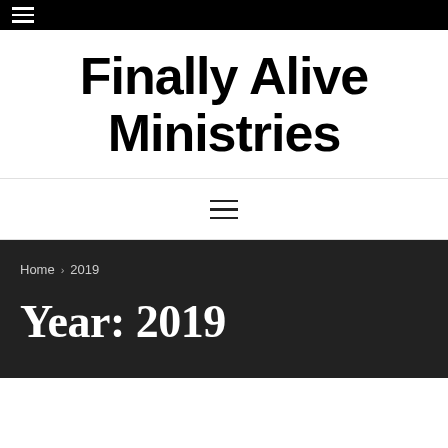≡
Finally Alive Ministries
≡
Home > 2019
Year: 2019